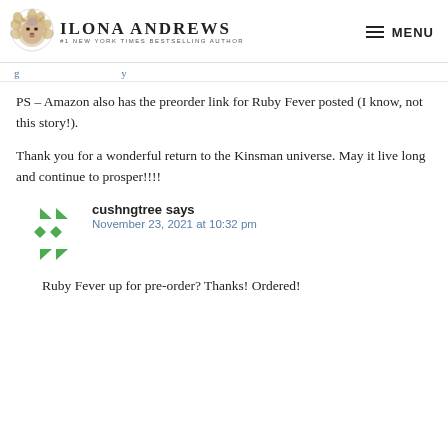Ilona Andrews — #1 New York Times Bestselling Author | MENU
PS – Amazon also has the preorder link for Ruby Fever posted (I know, not this story!).
Thank you for a wonderful return to the Kinsman universe. May it live long and continue to prosper!!!!
cushngtree says
November 23, 2021 at 10:32 pm
Ruby Fever up for pre-order? Thanks! Ordered!